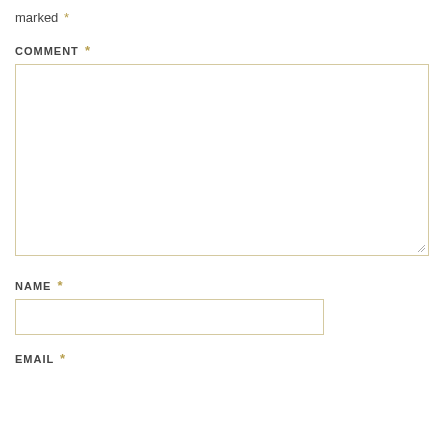marked *
COMMENT *
[Figure (other): Large empty textarea form field for comment input with resize handle]
NAME *
[Figure (other): Single-line text input field for name]
EMAIL *